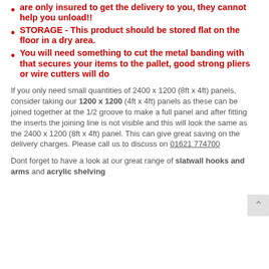are only insured to get the delivery to you, they cannot help you unload!!
STORAGE - This product should be stored flat on the floor in a dry area.
You will need something to cut the metal banding with that secures your items to the pallet, good strong pliers or wire cutters will do
If you only need small quantities of 2400 x 1200 (8ft x 4ft) panels, consider taking our 1200 x 1200 (4ft x 4ft) panels as these can be joined together at the 1/2 groove to make a full panel and after fitting the inserts the joining line is not visible and this will look the same as the 2400 x 1200 (8ft x 4ft) panel. This can give great saving on the delivery charges. Please call us to discuss on 01621 774700
Dont forget to have a look at our great range of slatwall hooks and arms and acrylic shelving